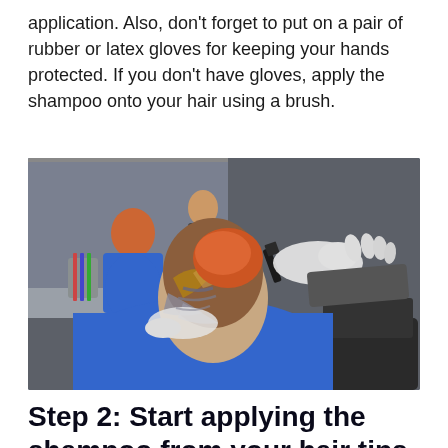application. Also, don't forget to put on a pair of rubber or latex gloves for keeping your hands protected. If you don't have gloves, apply the shampoo onto your hair using a brush.
[Figure (photo): A hairdresser wearing latex gloves applying hair dye to a client's hair using a brush. The client is sitting in a salon chair wearing a blue cape. A mirror reflection of the salon is visible in the background.]
Step 2: Start applying the shampoo from your hair tips and